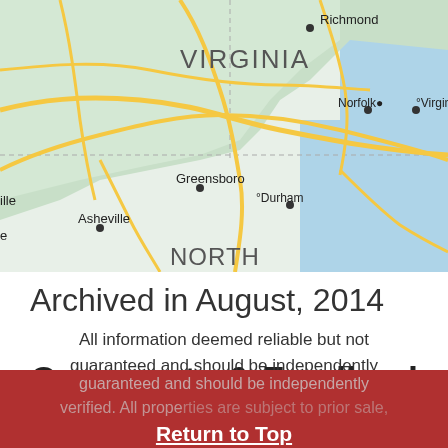[Figure (map): Road map showing southeastern United States including Virginia (Richmond, Norfolk, Virginia Beach), North Carolina (Greensboro, Durham, Asheville), with major highways and geographic features]
Archived in August, 2014
Comments & Feedback
All information deemed reliable but not guaranteed and should be independently verified. All properties are subject to prior sale,
Return to Top